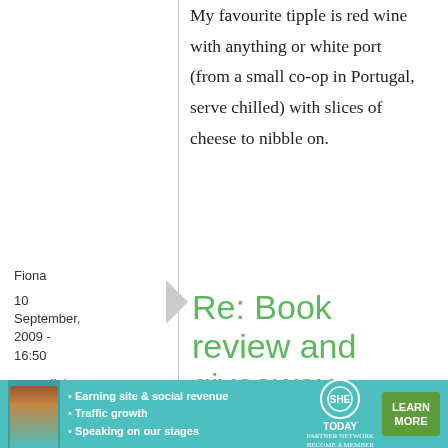My favourite tipple is red wine with anything or white port (from a small co-op in Portugal, serve chilled) with slices of cheese to nibble on.
Fiona
10 September, 2009 - 16:50
permalink
Re: Book review and giveaway:
[Figure (infographic): Advertisement banner for SHE Media Partner Network with woman photo, bullet points about earning site & social revenue, traffic growth, speaking on stages, SHE Today logo, and LEARN MORE button]